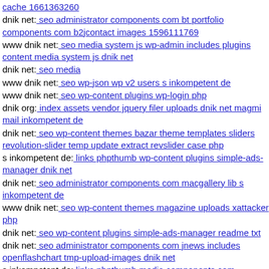cache 1661363260
dnik net: seo administrator components com bt portfolio components com b2jcontact images 1596111769
www dnik net: seo media system js wp-admin includes plugins content media system js dnik net
dnik net: seo media
www dnik net: seo wp-json wp v2 users s inkompetent de
www dnik net: seo wp-content plugins wp-login php
dnik org: index assets vendor jquery filer uploads dnik net magmi mail inkompetent de
dnik net: seo wp-content themes bazar theme templates sliders revolution-slider temp update extract revslider case php
s inkompetent de: links phpthumb wp-content plugins simple-ads-manager dnik net
dnik net: seo administrator components com macgallery lib s inkompetent de
www dnik net: seo wp-content themes magazine uploads xattacker php
dnik net: seo wp-content plugins simple-ads-manager readme txt
dnik net: seo administrator components com jnews includes openflashchart tmp-upload-images dnik net
s inkompetent de: links phpthumb media components com b2jcontact dnik net
dnik net: seo media system js administrator wp-admin admin-ajax php
dnik net: ...